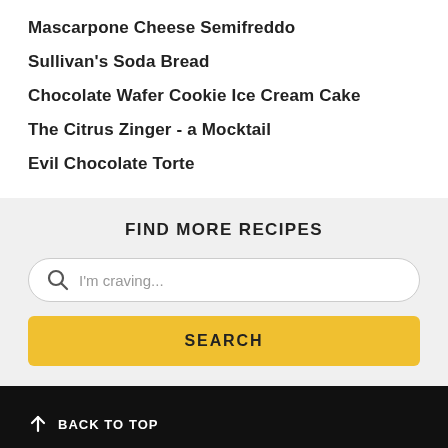Mascarpone Cheese Semifreddo
Sullivan's Soda Bread
Chocolate Wafer Cookie Ice Cream Cake
The Citrus Zinger - a Mocktail
Evil Chocolate Torte
FIND MORE RECIPES
I'm craving...
SEARCH
BACK TO TOP